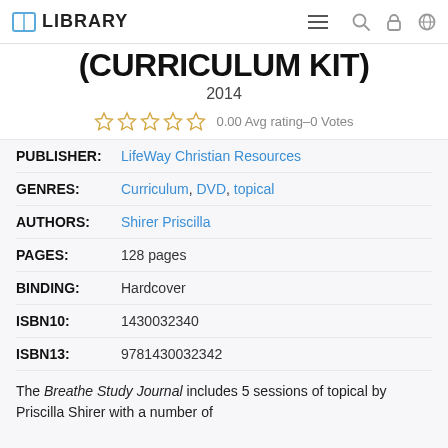LIBRARY
(CURRICULUM KIT)
2014
0.00 Avg rating–0 Votes
PUBLISHER: LifeWay Christian Resources
GENRES: Curriculum, DVD, topical
AUTHORS: Shirer Priscilla
PAGES: 128 pages
BINDING: Hardcover
ISBN10: 1430032340
ISBN13: 9781430032342
The Breathe Study Journal includes 5 sessions of topical by Priscilla Shirer with a number of...